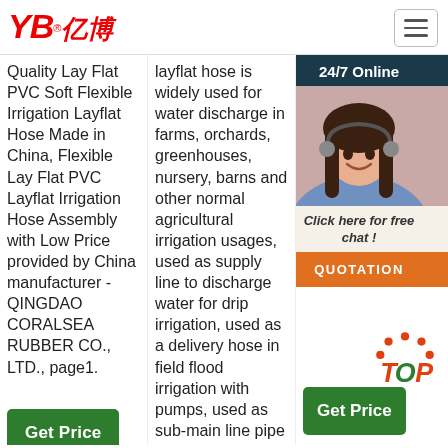YB亿博 logo and navigation
Quality Lay Flat PVC Soft Flexible Irrigation Layflat Hose Made in China, Flexible Lay Flat PVC Layflat Irrigation Hose Assembly with Low Price provided by China manufacturer - QINGDAO CORALSEA RUBBER CO., LTD., page1.
layflat hose is widely used for water discharge in farms, orchards, greenhouses, nursery, barns and other normal agricultural irrigation usages, used as supply line to discharge water for drip irrigation, used as a delivery hose in field flood irrigation with pumps, used as sub-main line pipe to dispatch water into PE tube and sprinklers with sprinkler.
Layflat Hose Irrigation Agricultural Farm Low Price Meter 1,000 Coralsea Video Rubber Hose Hose Water Transfer. FOB Price: US $0.8 ...
[Figure (photo): Customer service representative with headset, chat widget overlay with 24/7 Online header, Click here for free chat text, and QUOTATION button]
Get Price
Get Price